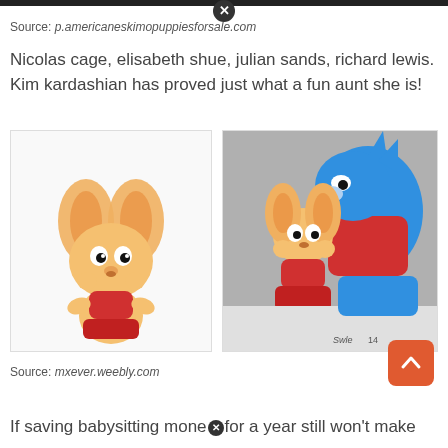Source: p.americaneskimopuppiesforsale.com
Nicolas cage, elisabeth shue, julian sands, richard lewis. Kim kardashian has proved just what a fun aunt she is!
[Figure (illustration): Two cartoon illustrations side by side. Left: 'Babysitting Cream' logo with an orange cartoon rabbit character in a red outfit. Right: The same character with a blue cartoon character (Sonic-style) in a red shirt.]
Source: mxever.weebly.com
If saving babysitting money for a year still won't make